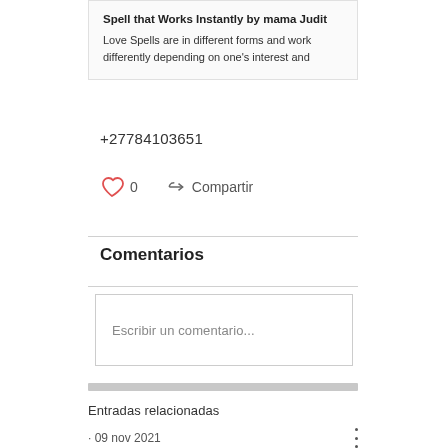Spell that Works Instantly by mama Judit
Love Spells are in different forms and work differently depending on one's interest and
+27784103651
[Figure (illustration): Heart icon (like) with count 0, and share arrow icon with label Compartir]
Comentarios
Escribir un comentario...
Entradas relacionadas
· 09 nov 2021
POWERFUL LOST LOVE SPELLS THAT WORK FAST | STRONG AFRICAN LOVE...